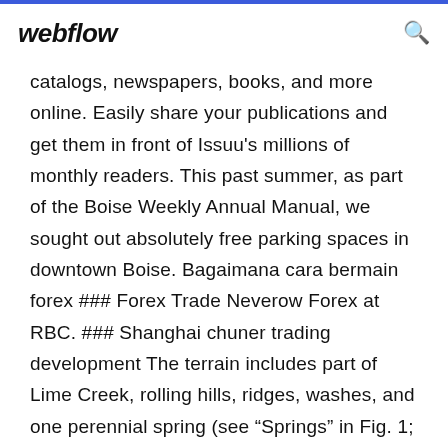webflow
catalogs, newspapers, books, and more online. Easily share your publications and get them in front of Issuu's millions of monthly readers. This past summer, as part of the Boise Weekly Annual Manual, we sought out absolutely free parking spaces in downtown Boise. Bagaimana cara bermain forex ### Forex Trade Neverow Forex at RBC. ### Shanghai chuner trading development The terrain includes part of Lime Creek, rolling hills, ridges, washes, and one perennial spring (see “Springs” in Fig. 1; hereafter the Spring). Enter a 10-digit Phone Number. Full report includes available information on owner's full name, current address, and more for the number.